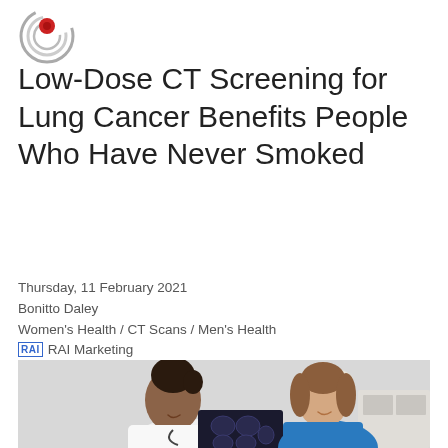[Figure (logo): Circular logo with red and grey concentric spiral/swirl design on white background]
Low-Dose CT Screening for Lung Cancer Benefits People Who Have Never Smoked
Thursday, 11 February 2021
Bonitto Daley
Women's Health / CT Scans / Men's Health
RAI Marketing
[Figure (photo): Two women in a medical setting — a healthcare professional in white coat with stethoscope and a patient in blue top — looking at an X-ray or CT scan image together, smiling]